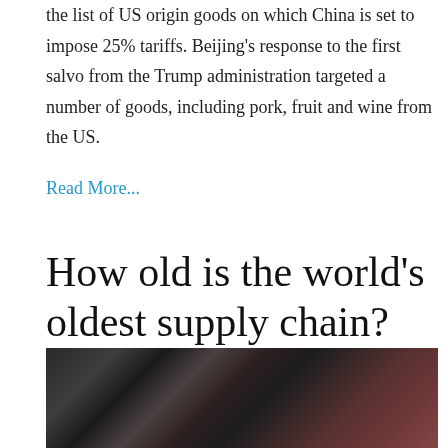the list of US origin goods on which China is set to impose 25% tariffs. Beijing's response to the first salvo from the Trump administration targeted a number of goods, including pork, fruit and wine from the US.
Read More...
How old is the world's oldest supply chain?
[Figure (photo): Close-up photo of dark dried goods or aged materials, dark brown and reddish tones, likely related to supply chain article]